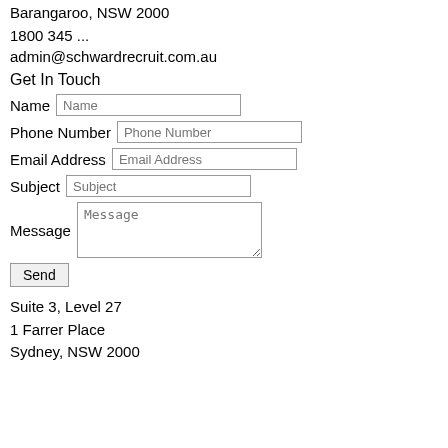Barangaroo, NSW 2000
1800 345 ...
admin@schwardrecruit.com.au
Get In Touch
Name [Name input field]
Phone Number [Phone Number input field]
Email Address [Email Address input field]
Subject [Subject input field]
Message [Message textarea]
Send [button]
Suite 3, Level 27
1 Farrer Place
Sydney, NSW 2000